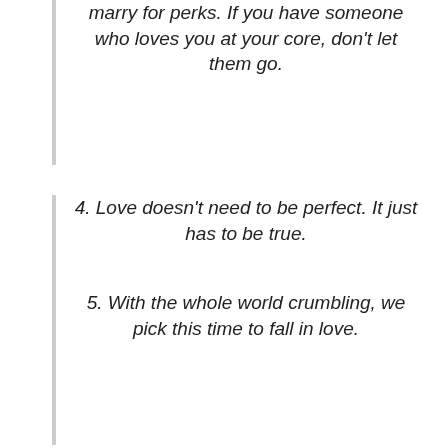marry for perks. If you have someone who loves you at your core, don't let them go.
4. Love doesn't need to be perfect. It just has to be true.
5. With the whole world crumbling, we pick this time to fall in love.